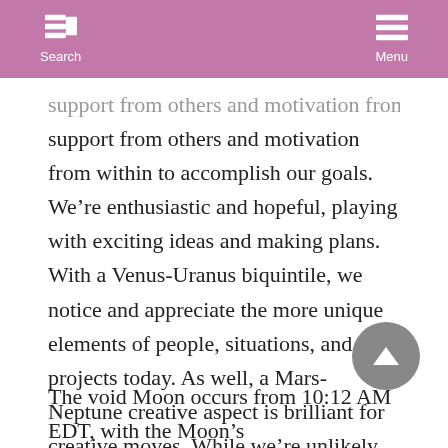Search  Menu
support from others and motivation from within to accomplish our goals. We’re enthusiastic and hopeful, playing with exciting ideas and making plans. With a Venus-Uranus biquintile, we notice and appreciate the more unique elements of people, situations, and projects today. As well, a Mars-Neptune creative aspect is brilliant for creative moves. While we’re unlikely to face them head-on, we can see the way around problems. Instead, we may be acting on dreams or ideals now. The Cancer Moon period begins at 5:01 PM, and especially with a Sun-Moon trine, we’re getting in touch with our emotional needs.
The void Moon occurs from 10:12 AM EDT, with the Moon’s